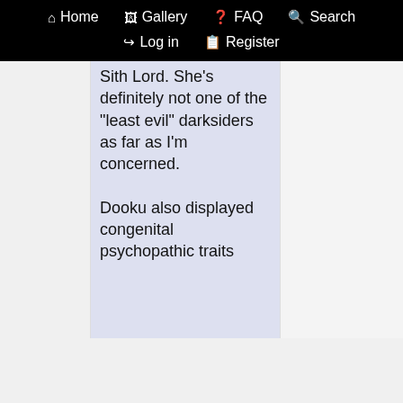Home  Gallery  FAQ  Search  Log in  Register
Sith Lord. She's definitely not one of the "least evil" darksiders as far as I'm concerned.

Dooku also displayed congenital psychopathic traits